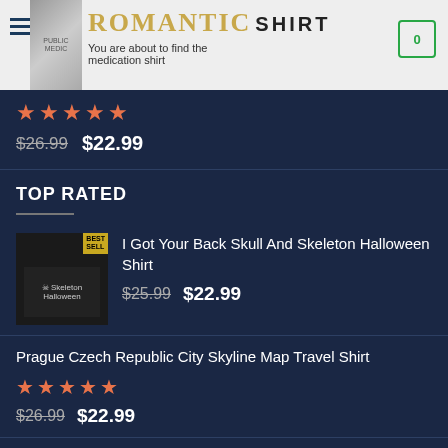ROMANTIC SHIRT — You are about to find the medication shirt
★★★★★ $26.99 $22.99
TOP RATED
I Got Your Back Skull And Skeleton Halloween Shirt — $25.99 $22.99
Prague Czech Republic City Skyline Map Travel Shirt — ★★★★½ — $26.99 $22.99
Merry christmas bus tree shirt — ★★★★☆